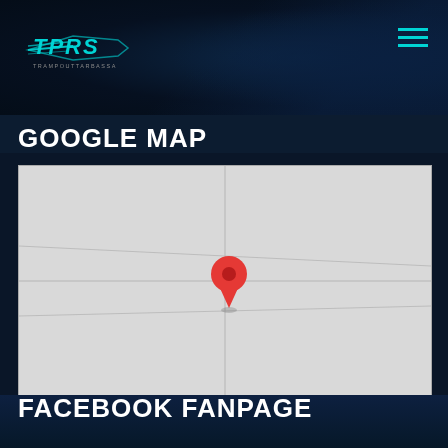[Figure (logo): TPRS logo with cyan/teal color scheme and car racing branding]
GOOGLE MAP
[Figure (map): Google Map showing a location with a red map pin marker in the center of a light gray map area]
FACEBOOK FANPAGE